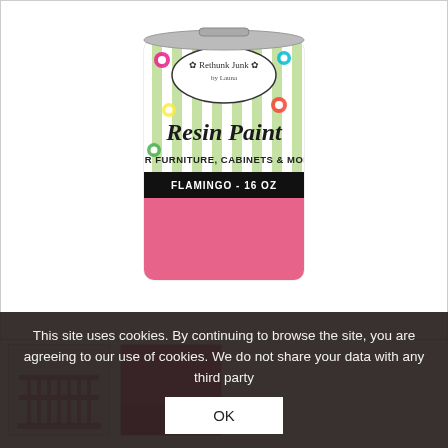[Figure (photo): Product photo of Rethunk Junk Resin Paint for Furniture, Cabinets & More, Flamingo color, 16 oz, in a cylindrical container with pink base and colorful flower-decorated label with green stripes]
[Figure (photo): Thumbnail photo showing a pink crib or furniture piece painted in Flamingo color]
[Figure (photo): Thumbnail showing a solid pink color swatch for Flamingo paint]
This site uses cookies. By continuing to browse the site, you are agreeing to our use of cookies. We do not share your data with any third party
Paint – Flamingo